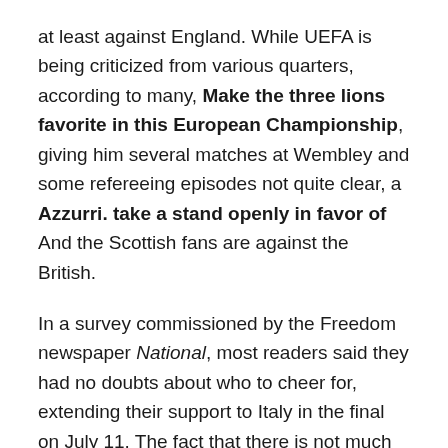at least against England. While UEFA is being criticized from various quarters, according to many, Make the three lions favorite in this European Championship, giving him several matches at Wembley and some refereeing episodes not quite clear, a Azzurri. take a stand openly in favor of And the Scottish fans are against the British.
In a survey commissioned by the Freedom newspaper National, most readers said they had no doubts about who to cheer for, extending their support to Italy in the final on July 11. The fact that there is not much sympathy between the English and the Scots at the football level is nothing new. But this time the game has also been linked to issues of political nature, which reinforce a feeling Cultivated for a long time.
And so, suddenly, Azurri became the hero who could give Scots a dream, and Mancini became the front page of a